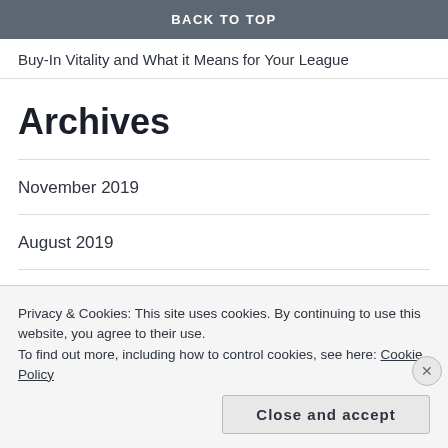BACK TO TOP
Buy-In Vitality and What it Means for Your League
Archives
November 2019
August 2019
July 2019
September 2018
Privacy & Cookies: This site uses cookies. By continuing to use this website, you agree to their use.
To find out more, including how to control cookies, see here: Cookie Policy
Close and accept